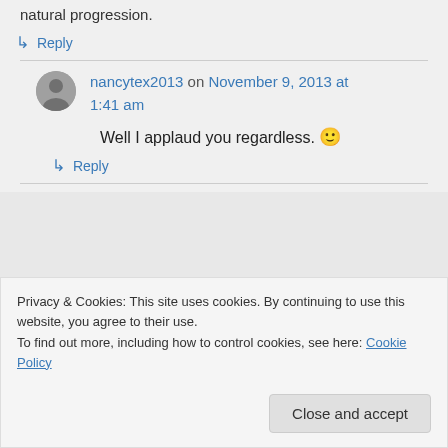natural progression.
↳ Reply
nancytex2013 on November 9, 2013 at 1:41 am
Well I applaud you regardless. 🙂
↳ Reply
Privacy & Cookies: This site uses cookies. By continuing to use this website, you agree to their use.
To find out more, including how to control cookies, see here: Cookie Policy
Close and accept